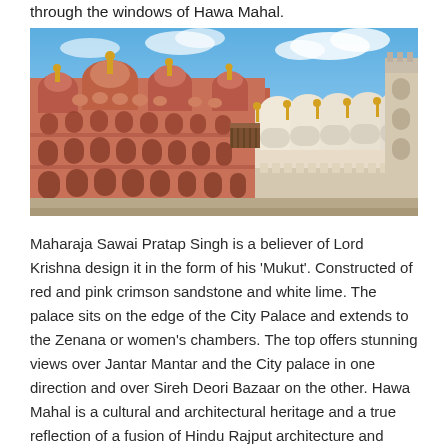through the windows of Hawa Mahal.
[Figure (photo): Photograph of Hawa Mahal palace in Jaipur, showing the iconic pink and red sandstone facade with ornate domes, arched windows, and white decorative elements against a blue sky with clouds.]
Maharaja Sawai Pratap Singh is a believer of Lord Krishna design it in the form of his 'Mukut'. Constructed of red and pink crimson sandstone and white lime. The palace sits on the edge of the City Palace and extends to the Zenana or women's chambers. The top offers stunning views over Jantar Mantar and the City palace in one direction and over Sireh Deori Bazaar on the other. Hawa Mahal is a cultural and architectural heritage and a true reflection of a fusion of Hindu Rajput architecture and Islamic Mughal architecture. This